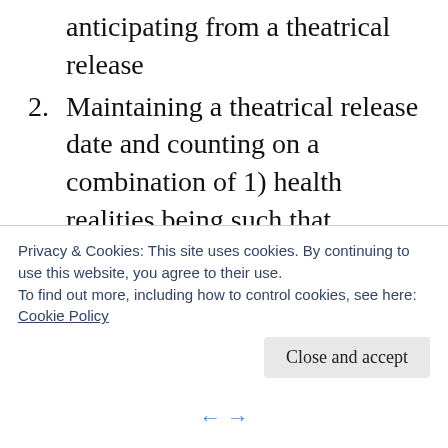anticipating from a theatrical release
2. Maintaining a theatrical release date and counting on a combination of 1) health realities being such that theaters and other businesses are still fully open, 2) audience willingness to venture out to mass gatherings, and 3) the movie being attractive enough to a critical mass of people.
Neither, of course, is ideal and is definitely not
Privacy & Cookies: This site uses cookies. By continuing to use this website, you agree to their use.
To find out more, including how to control cookies, see here:
Cookie Policy
Close and accept